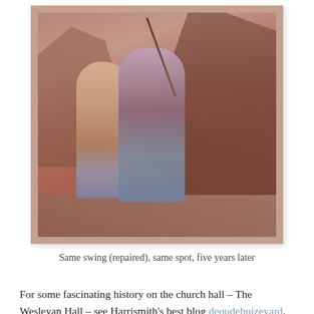[Figure (photo): Vintage photograph of two young men outdoors near bushes and bare trees. One man in a plaid shirt holds one arm raised high holding a rope or swing. The other man in a cream sweater stands beside him. The photo has a sepia/warm tone typical of 1970s photography.]
Same swing (repaired), same spot, five years later
For some fascinating history on the church hall – The Wesleyan Hall – see Harrismith's best blog deoudehuizeyard.